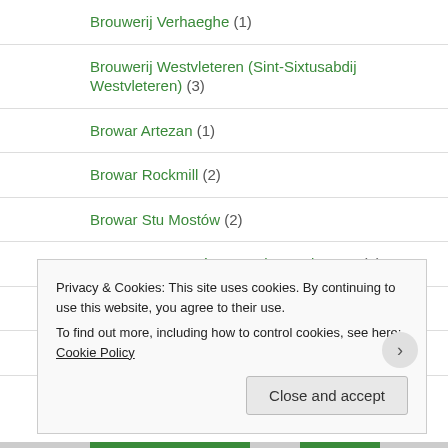Brouwerij Verhaeghe (1)
Brouwerij Westvleteren (Sint-Sixtusabdij Westvleteren) (3)
Browar Artezan (1)
Browar Rockmill (2)
Browar Stu Mostów (2)
Browar Stu Mostów x North Brewing Co. (1)
Burley Oak Brewing Company (4)
Burning Sky Brewery (5)
Buxton Brewery (1)
Privacy & Cookies: This site uses cookies. By continuing to use this website, you agree to their use. To find out more, including how to control cookies, see here: Cookie Policy